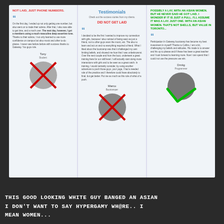[Figure (screenshot): Screenshot of a testimonials page with three columns. Left column has red text 'NOT LAID, JUST PHONE NUMBERS.' Middle column has 'Testimonials' header and red 'DID NOT GET LAID'. Right column has green text about a possible lay with an Asian woman. Each column has a quote and avatar with red X or green check.]
THIS GOOD LOOKING WHITE GUY BANGED AN ASIAN I DON'T WANT TO SAY HYPERGAMY WH@RE.. I MEAN WOMEN...